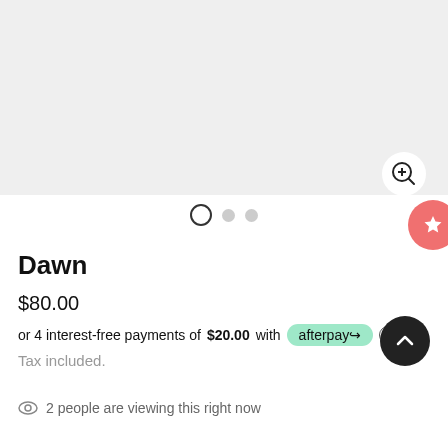[Figure (photo): Product image placeholder — light gray rectangle with a zoom/magnify button in the bottom-right corner]
Dawn
$80.00
or 4 interest-free payments of $20.00 with afterpay ℹ
Tax included.
2 people are viewing this right now